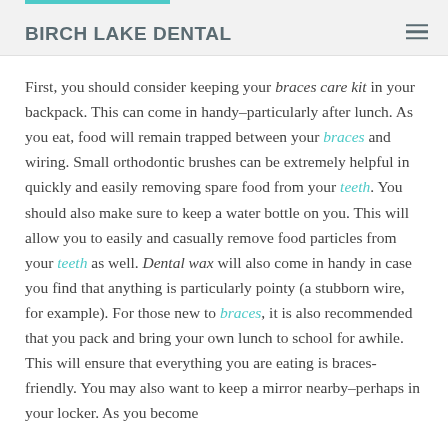BIRCH LAKE DENTAL
First, you should consider keeping your braces care kit in your backpack. This can come in handy–particularly after lunch. As you eat, food will remain trapped between your braces and wiring. Small orthodontic brushes can be extremely helpful in quickly and easily removing spare food from your teeth. You should also make sure to keep a water bottle on you. This will allow you to easily and casually remove food particles from your teeth as well. Dental wax will also come in handy in case you find that anything is particularly pointy (a stubborn wire, for example). For those new to braces, it is also recommended that you pack and bring your own lunch to school for awhile. This will ensure that everything you are eating is braces-friendly. You may also want to keep a mirror nearby–perhaps in your locker. As you become